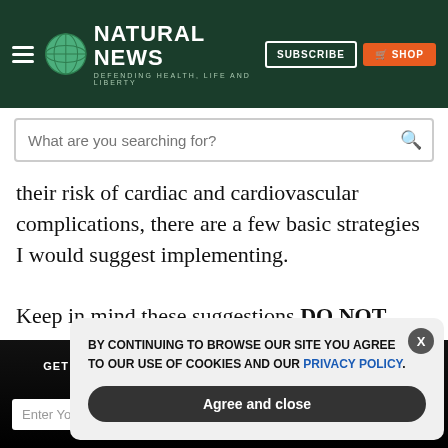NATURAL NEWS — DEFENDING HEALTH, LIFE AND LIBERTY
their risk of cardiac and cardiovascular complications, there are a few basic strategies I would suggest implementing.
Keep in mind these suggestions DO NOT supersede or cancel out any medical advice they may receive from their
GET THE WORLD'S BEST NATURAL HEALTH NEWSLETTER DELIVERED STRAIGHT TO YOUR INBOX
BY CONTINUING TO BROWSE OUR SITE YOU AGREE TO OUR USE OF COOKIES AND OUR PRIVACY POLICY.
Agree and close